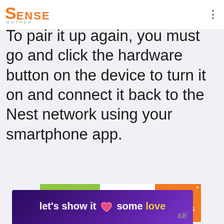SENSE MOTHER
To pair it up again, you must go and click the hardware button on the device to turn it on and connect it back to the Nest network using your smartphone app.
[Figure (screenshot): Cookie Dough for Kids Cancer advertisement banner. Left green section says COOKIE DOUGH, middle white section says Childhood cancer didn't stop for COVID-19., right orange section says cookies for kids cancer GET BAKING with an X close button.]
[Figure (screenshot): Dark purple banner advertisement with text 'let's show it some love' featuring a pink heart icon, with a gold colored word 'love'. MM logo in bottom right corner.]